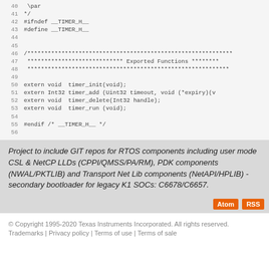Code listing lines 40-56 showing C header file with #ifndef __TIMER_H__ guard, extern function declarations for timer_init, timer_add, timer_delete, timer_run, and #endif
Project to include GIT repos for RTOS components including user mode CSL & NetCP LLDs (CPPI/QMSS/PA/RM), PDK components (NWAL/PKTLIB) and Transport Net Lib components (NetAPI/HPLIB) - secondary bootloader for legacy K1 SOCs: C6678/C6657.
Atom RSS
© Copyright 1995-2020 Texas Instruments Incorporated. All rights reserved. Trademarks | Privacy policy | Terms of use | Terms of sale